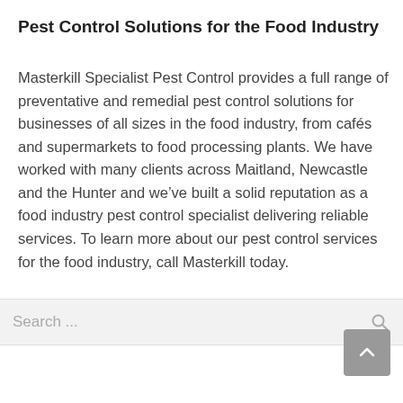Pest Control Solutions for the Food Industry
Masterkill Specialist Pest Control provides a full range of preventative and remedial pest control solutions for businesses of all sizes in the food industry, from cafés and supermarkets to food processing plants. We have worked with many clients across Maitland, Newcastle and the Hunter and we've built a solid reputation as a food industry pest control specialist delivering reliable services. To learn more about our pest control services for the food industry, call Masterkill today.